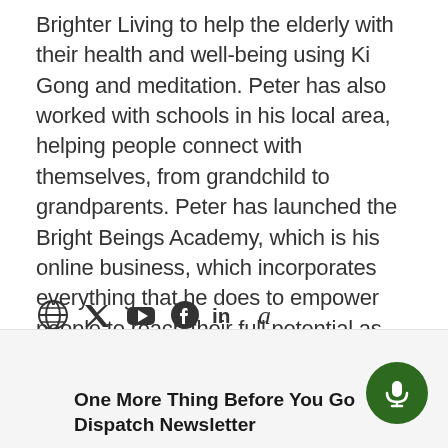Brighter Living to help the elderly with their health and well-being using Ki Gong and meditation. Peter has also worked with schools in his local area, helping people connect with themselves, from grandchild to grandparents. Peter has launched the Bright Beings Academy, which is his online business, which incorporates everything that he does to empower people to reach their full potential as human beings.
[Figure (infographic): Social media icons: globe/website, Twitter, YouTube, Facebook, LinkedIn, Amazon]
One More Thing Before You Go Dispatch Newsletter